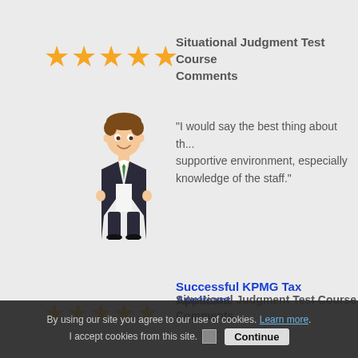[Figure (illustration): Five gold/yellow star rating icons in a row]
Situational Judgment Test Course Comments
[Figure (illustration): Cartoon avatar of a young man in a dark suit with green tie, smiling]
"I would say the best thing about the supportive environment, especially knowledge of the staff."
Successful KPMG Tax Applicant
[Figure (illustration): Five gold/yellow star rating icons in a row]
Situational Judgment Test Course Comments
[Figure (illustration): Cartoon avatar of a young woman with orange/red hair]
"Amazing thing about Green Turn i... mad person... n's success."
By using our site you agree to our use of cookies. Learn more. I accept cookies from this site. Continue